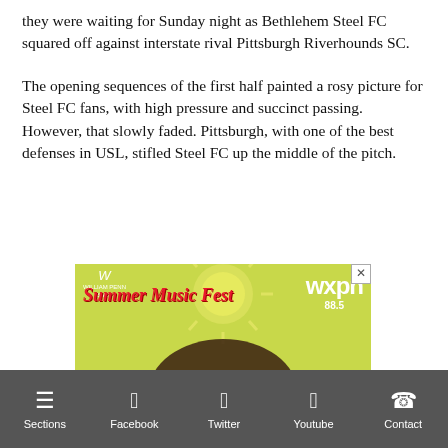they were waiting for Sunday night as Bethlehem Steel FC squared off against interstate rival Pittsburgh Riverhounds SC.
The opening sequences of the first half painted a rosy picture for Steel FC fans, with high pressure and succinct passing. However, that slowly faded. Pittsburgh, with one of the best defenses in USL, stifled Steel FC up the middle of the pitch.
[Figure (photo): Advertisement for William Penn Bank Summer Music Fest featuring WXPN radio. Shows two women (Indigo Girls) against a green/yellow sunburst background with text 'Summer Music Fest' and 'wxpn 88.5' logos, and 'INDIGO GIRLS' text at bottom.]
Sections  Facebook  Twitter  Youtube  Contact